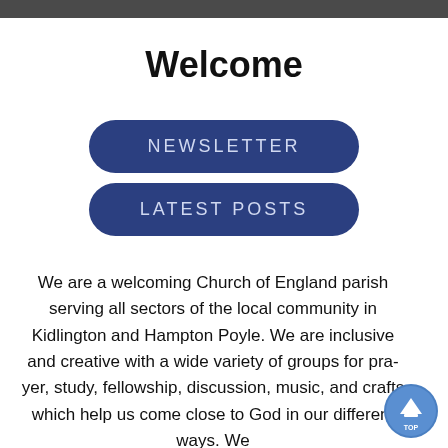Welcome
NEWSLETTER
LATEST POSTS
We are a welcoming Church of England parish serving all sectors of the local community in Kidlington and Hampton Poyle. We are inclusive and creative with a wide variety of groups for prayer, study, fellowship, discussion, music, and crafts which help us come close to God in our different ways. We